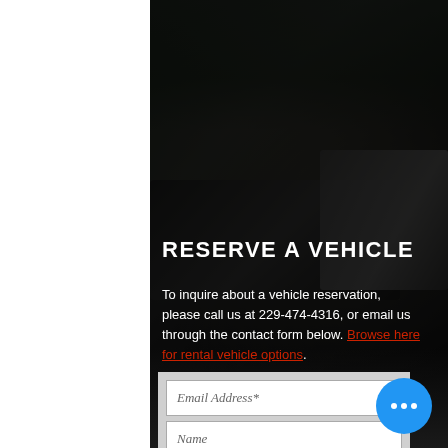[Figure (photo): Dark background photo of a car dealership lot with multiple vehicles parked, trees visible in background, dark overlay applied over the image]
RESERVE A VEHICLE
To inquire about a vehicle reservation, please call us at 229-474-4316, or email us through the contact form below. Browse here for rental vehicle options.
Email Address*
Name